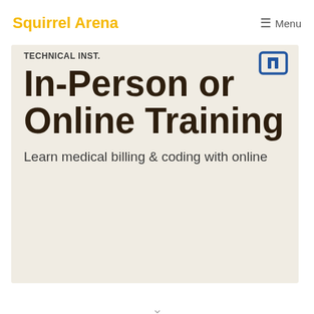Squirrel Arena
Menu
TECHNICAL INST.
In-Person or Online Training
Learn medical billing & coding with online